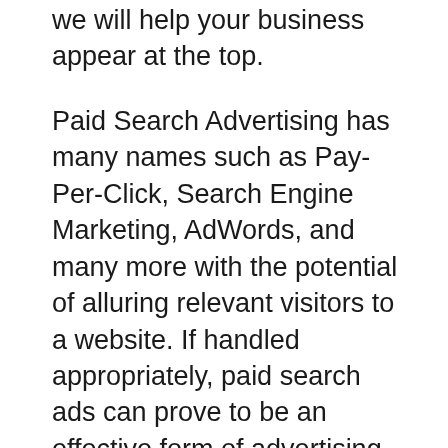we will help your business appear at the top.
Paid Search Advertising has many names such as Pay-Per-Click, Search Engine Marketing, AdWords, and many more with the potential of alluring relevant visitors to a website. If handled appropriately, paid search ads can prove to be an effective form of advertising as it can help you increase sales while generating more leads and that too in a very short time period.
With the presence of over billion websites, users find it difficult finding the needed information, and it is more difficult for companies to attract the targeted audience to their respective websites. At MilkyWeb, we help you pass through this dilemma